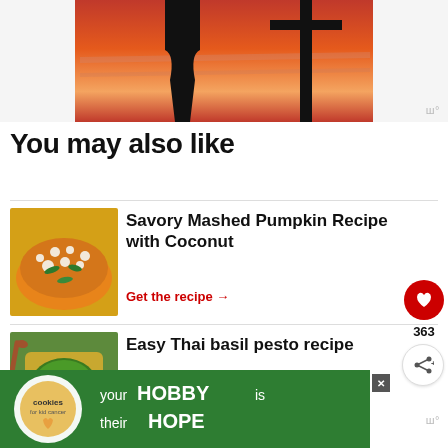[Figure (photo): Sunset silhouette photo showing dark figures against a vivid orange-red sky]
You may also like
[Figure (photo): Savory mashed pumpkin dish topped with shredded coconut and green leaves]
Savory Mashed Pumpkin Recipe with Coconut
Get the recipe →
[Figure (photo): Thai basil pesto in a yellow dish with green sauce]
Easy Thai basil pesto recipe
[Figure (screenshot): Advertisement banner: cookies for kid cancer - your HOBBY is their HOPE]